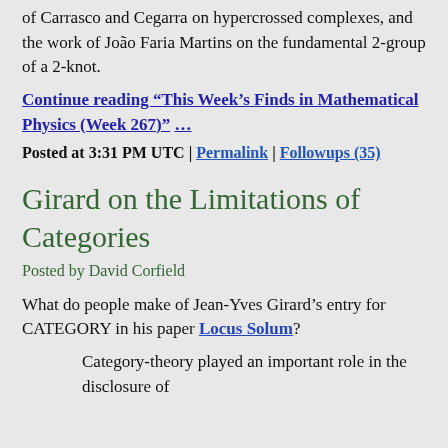of Carrasco and Cegarra on hypercrossed complexes, and the work of João Faria Martins on the fundamental 2-group of a 2-knot.
Continue reading "This Week's Finds in Mathematical Physics (Week 267)" ...
Posted at 3:31 PM UTC | Permalink | Followups (35)
Girard on the Limitations of Categories
Posted by David Corfield
What do people make of Jean-Yves Girard's entry for CATEGORY in his paper Locus Solum?
Category-theory played an important role in the disclosure of